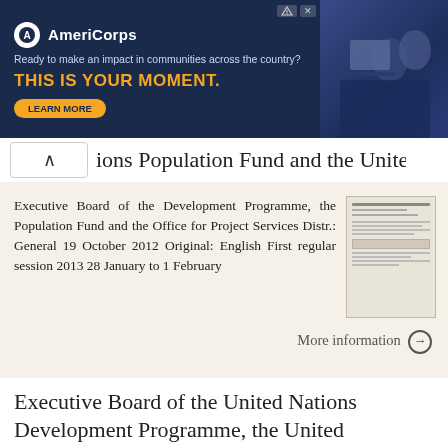[Figure (screenshot): AmeriCorps advertisement banner with dark blue background, logo, tagline 'Ready to make an impact in communities across the country?', headline 'THIS IS YOUR MOMENT.', Learn More button, and image of people at computers]
ions Population Fund and the United
Executive Board of the Development Programme, the Population Fund and the Office for Project Services Distr.: General 19 October 2012 Original: English First regular session 2013 28 January to 1 February
More information →
Executive Board of the United Nations Development Programme, the United Nations Population Fund and the United
Executive Board of the Development Programme, the Population Fund and the United Nations Office for Project Services Distr.: General 31 July 2014 Original: English